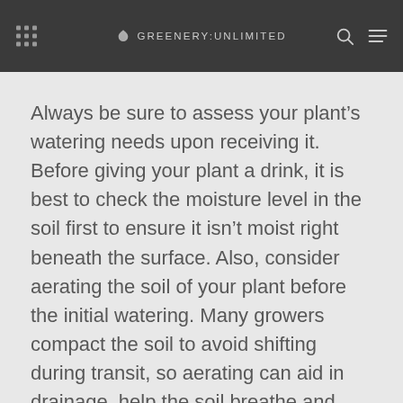GREENERY:UNLIMITED
Always be sure to assess your plant's watering needs upon receiving it. Before giving your plant a drink, it is best to check the moisture level in the soil first to ensure it isn't moist right beneath the surface. Also, consider aerating the soil of your plant before the initial watering. Many growers compact the soil to avoid shifting during transit, so aerating can aid in drainage, help the soil breathe and allow moisture to be released.
The Fiddle Leaf Fig likes its soil to be kept